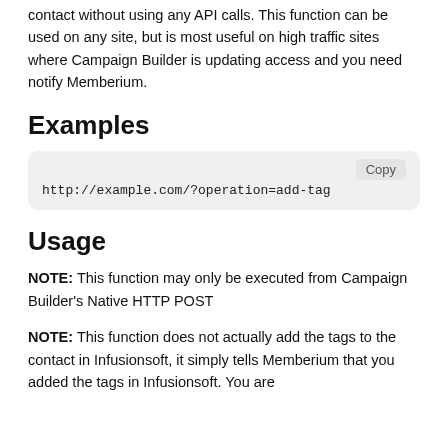contact without using any API calls. This function can be used on any site, but is most useful on high traffic sites where Campaign Builder is updating access and you need notify Memberium.
Examples
[Figure (screenshot): Code box showing URL: http://example.com/?operation=add-tag with a Copy button]
Usage
NOTE: This function may only be executed from Campaign Builder's Native HTTP POST
NOTE: This function does not actually add the tags to the contact in Infusionsoft, it simply tells Memberium that you added the tags in Infusionsoft. You are